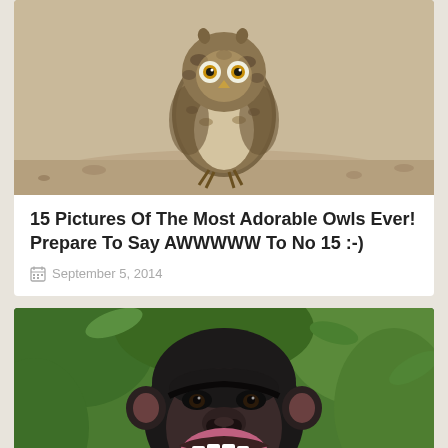[Figure (photo): A small fluffy owl with brown and white speckled feathers sitting on sandy ground, looking directly at the camera]
15 Pictures Of The Most Adorable Owls Ever! Prepare To Say AWWWWW To No 15 :-)
September 5, 2014
[Figure (photo): A chimpanzee with black fur laughing or grimacing with mouth wide open showing teeth, green foliage in background]